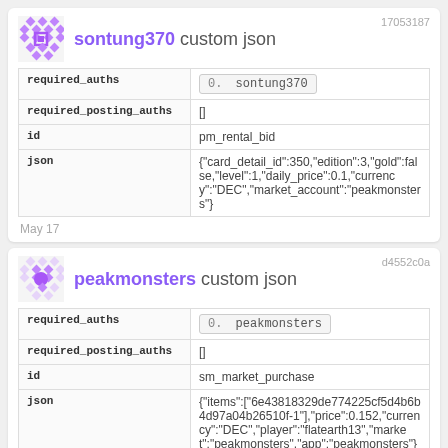sontung370 custom json
| required_auths | 0. sontung370 |
| required_posting_auths | [] |
| id | pm_rental_bid |
| json | {"card_detail_id":350,"edition":3,"gold":false,"level":1,"daily_price":0.1,"currency":"DEC","market_account":"peakmonsters"} |
May 17
peakmonsters custom json
| required_auths | 0. peakmonsters |
| required_posting_auths | [] |
| id | sm_market_purchase |
| json | {"items":["6e43818329de774225cf5d4b6b4d97a04b26510f-1"],"price":0.152,"currency":"DEC","player":"flatearth13","market":"peakmonsters","app":"peakmonsters"} |
May 17